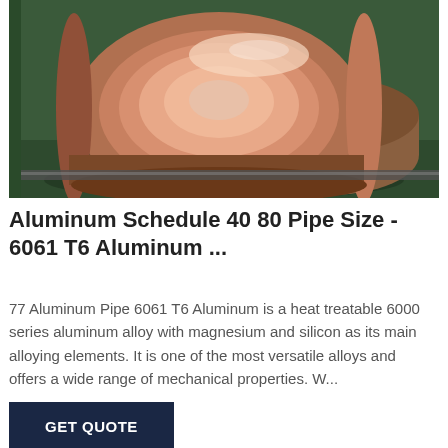[Figure (photo): Large copper/bronze colored metal coil roll resting on a warehouse floor with a green background, showing the reflective surface of the rolled metal material.]
Aluminum Schedule 40 80 Pipe Size - 6061 T6 Aluminum ...
77 Aluminum Pipe 6061 T6 Aluminum is a heat treatable 6000 series aluminum alloy with magnesium and silicon as its main alloying elements. It is one of the most versatile alloys and offers a wide range of mechanical properties. W...
GET QUOTE